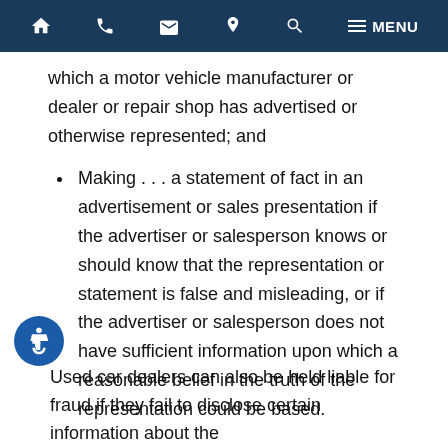🏠 📞 ✉ 📍 🔍 ≡ MENU
which a motor vehicle manufacturer or dealer or repair shop has advertised or otherwise represented; and
Making . . . a statement of fact in an advertisement or sales presentation if the advertiser or salesperson knows or should know that the representation or statement is false and misleading, or if the advertiser or salesperson does not have sufficient information upon which a reasonable belief in the truth of the representation could be based.
Used car dealers can also be held liable for fraud if they fail to disclose certain information about the